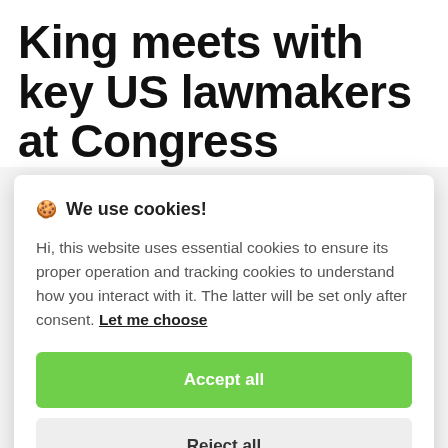King meets with key US lawmakers at Congress
🍪 We use cookies!
Hi, this website uses essential cookies to ensure its proper operation and tracking cookies to understand how you interact with it. The latter will be set only after consent. Let me choose
Accept all
Reject all
number of meetings at the US Congress